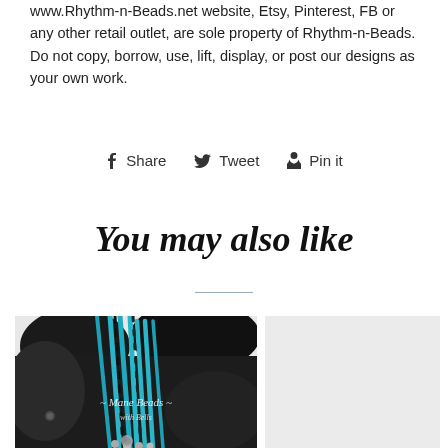www.Rhythm-n-Beads.net website, Etsy, Pinterest, FB or any other retail outlet, are sole property of Rhythm-n-Beads. Do not copy, borrow, use, lift, display, or post our designs as your own work.
Share   Tweet   Pin it
You may also like
[Figure (photo): Photo of turquoise and black beaded mane beads with leather, labeled 'Mane Beads with Bells']
[Figure (photo): Light gray/white product image placeholder on right side]